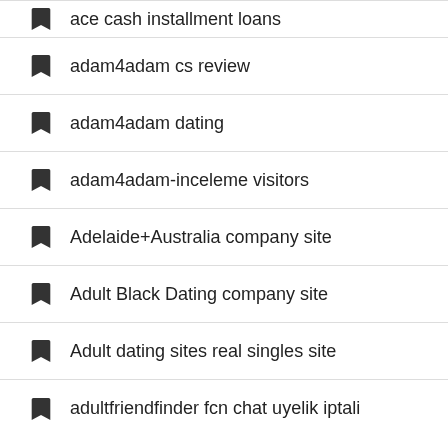ace cash installment loans
adam4adam cs review
adam4adam dating
adam4adam-inceleme visitors
Adelaide+Australia company site
Adult Black Dating company site
Adult dating sites real singles site
adultfriendfinder fcn chat uyelik iptali